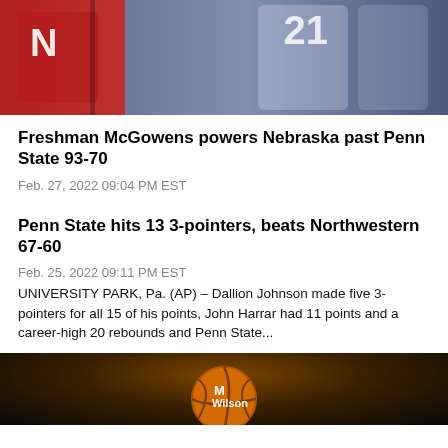[Figure (photo): Basketball game action photo showing Nebraska player in red uniform with N logo and Penn State player in white uniform number 21 competing for the ball]
Freshman McGowens powers Nebraska past Penn State 93-70
Feb. 27, 2022 09:04 PM EST
Penn State hits 13 3-pointers, beats Northwestern 67-60
Feb. 25, 2022 09:11 PM EST
UNIVERSITY PARK, Pa. (AP) – Dallion Johnson made five 3-pointers for all 15 of his points, John Harrar had 11 points and a career-high 20 rebounds and Penn State...
[Figure (photo): Basketball player holding a Wilson basketball, dark background]